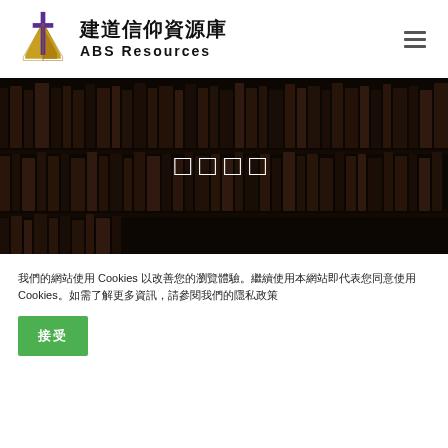建道信仰資源庫 ABS Resources
[Figure (illustration): Dark background hero banner with bookshelf imagery and white Chinese characters in the center]
□□□□
我們的網站使用 Cookies 以改善您的瀏覽體驗。繼續使用本網站即代表您同意使用Cookies。如需了解更多資訊，請參閱我們的隱私政策
接受